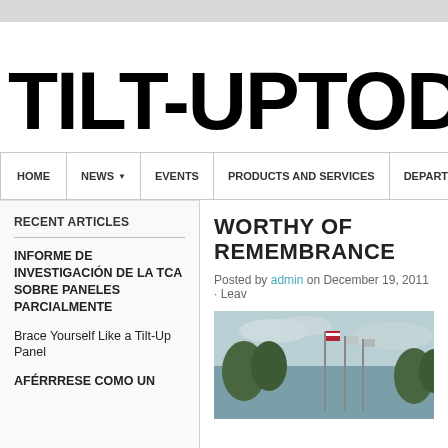TILT-UP TODAY
HOME | NEWS | EVENTS | PRODUCTS AND SERVICES | DEPARTMENTS
RECENT ARTICLES
INFORME DE INVESTIGACIÓN DE LA TCA SOBRE PANELES PARCIALMENTE
Brace Yourself Like a Tilt-Up Panel
AFÉRRRESE COMO UN
WORTHY OF REMEMBRANCE
Posted by admin on December 19, 2011 · Leav
[Figure (photo): Photo of flags and trees at an outdoor memorial or ceremony location]